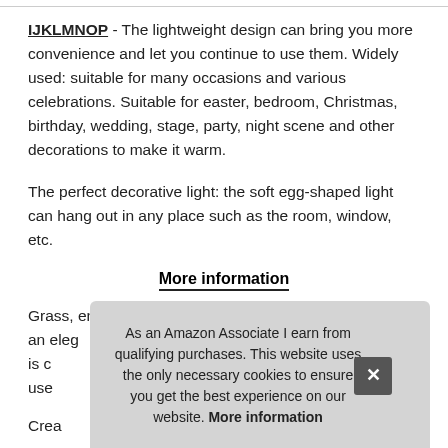IJKLMNOP - The lightweight design can bring you more convenience and let you continue to use them. Widely used: suitable for many occasions and various celebrations. Suitable for easter, bedroom, Christmas, birthday, wedding, stage, party, night scene and other decorations to make it warm.
The perfect decorative light: the soft egg-shaped light can hang out in any place such as the room, window, etc.
More information
Grass, entrance, mantel or put it on the basket, adding an eleg... is c... use...
Crea...
As an Amazon Associate I earn from qualifying purchases. This website uses the only necessary cookies to ensure you get the best experience on our website. More information